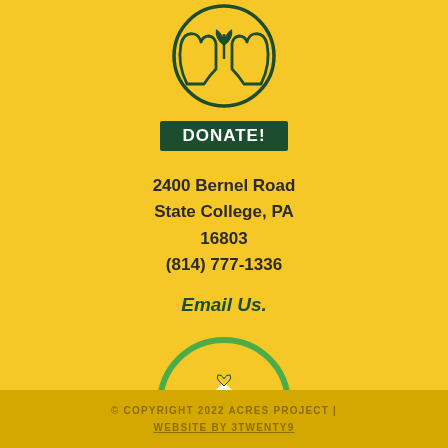[Figure (logo): Donate icon: two hands forming a circle with a heart/plant symbol on yellow background, with a dark green DONATE! button below]
2400 Bernel Road
State College, PA
16803
(814) 777-1336
Email Us.
[Figure (logo): Acres Project circular logo: green and white house with hill inside a circle on yellow background, with 'acres project' text below]
© COPYRIGHT 2022 ACRES PROJECT | WEBSITE BY 3TWENTY9